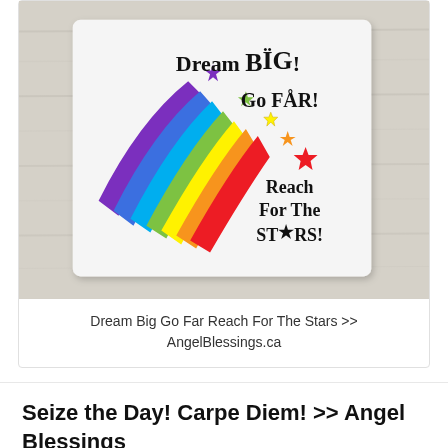[Figure (illustration): Product image of a blanket with rainbow shooting star design and inspirational text: Dream BIG! Go FAR! Reach For The STARS! on a wooden background]
Dream Big Go Far Reach For The Stars >> AngelBlessings.ca
Seize the Day! Carpe Diem! >> Angel Blessings